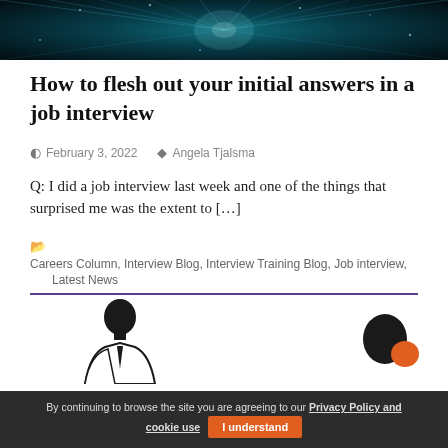[Figure (photo): Dark teal/black background image with bright light rays emanating from center, appearing to be a digital network or technology themed header image]
How to flesh out your initial answers in a job interview
February 3, 2022   Angela Tjalsma
Q: I did a job interview last week and one of the things that surprised me was the extent to […]
Careers Column, Interview Blog, Interview Training Blog, Job interview, Latest News
[Figure (illustration): Silhouette illustration of two people in a job interview scenario — one interviewer and one interviewee facing each other]
By continuing to browse the site you are agreeing to our Privacy Policy and cookie use   I understand